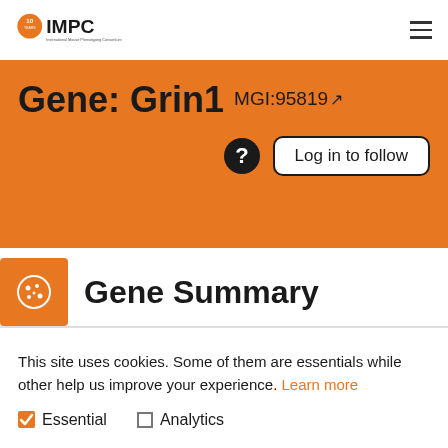IMPC - International Mouse Phenotyping Consortium
Gene: Grin1  MGI:95819
Gene Summary
This site uses cookies. Some of them are essentials while other help us improve your experience. Learn more
Essential
Analytics